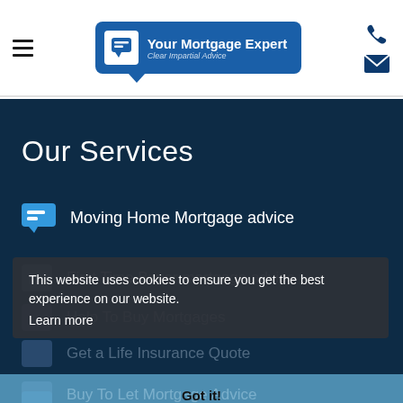[Figure (logo): Your Mortgage Expert logo — blue speech bubble with text 'Your Mortgage Expert / Clear Impartial Advice']
Our Services
Moving Home Mortgage advice
First Time Buyer mortgage advice
Help To Buy Mortgages
Get a Life Insurance Quote
Buy To Let Mortgage Advice
This website uses cookies to ensure you get the best experience on our website.
Learn more
Got it!